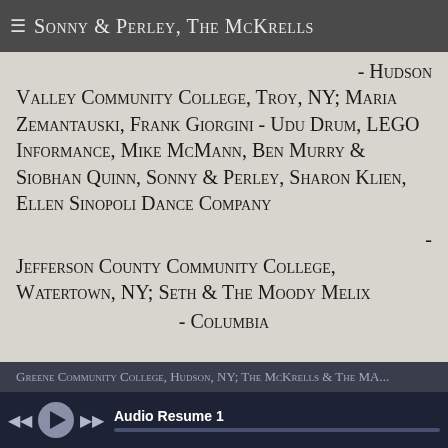≡ Sonny & Perley, The McKrells
- Hudson Valley Community College, Troy, NY; Maria Zemantauski, Frank Giorgini - Udu Drum, LEGO Informance, Mike McMann, Ben Murry & Siobhan Quinn, Sonny & Perley, Sharon Klien, Ellen Sinopoli Dance Company
- Jefferson County Community College, Watertown, NY; Seth & The Moody Melix - Columbia
Greene Community College, Hudson, NY; The McKrells... Audio Resume 1